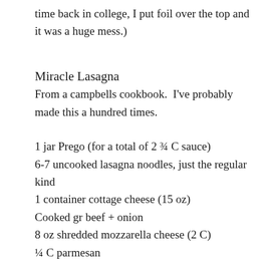time back in college, I put foil over the top and it was a huge mess.)
Miracle Lasagna
From a campbells cookbook.  I've probably made this a hundred times.
1 jar Prego (for a total of 2 ¾ C sauce)
6-7 uncooked lasagna noodles, just the regular kind
1 container cottage cheese (15 oz)
Cooked gr beef + onion
8 oz shredded mozzarella cheese (2 C)
¼ C parmesan
Spread in a pan...